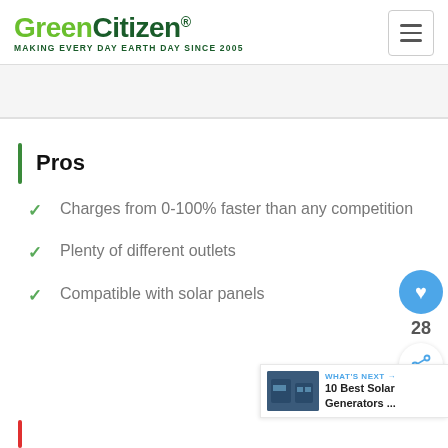GreenCitizen® MAKING EVERY DAY EARTH DAY SINCE 2005
Pros
Charges from 0-100% faster than any competition
Plenty of different outlets
Compatible with solar panels